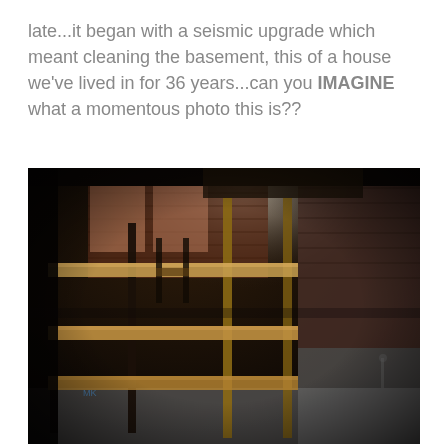late...it began with a seismic upgrade which meant cleaning the basement, this of a house we've lived in for 36 years...can you IMAGINE what a momentous photo this is??
[Figure (photo): A dark basement interior showing empty wooden shelving units with multiple tiers. The shelves are made of light-colored wood planks supported by dark metal frames. Brick walls are visible in the background along with small basement windows letting in some light. The floor is concrete and the overall atmosphere is dim.]